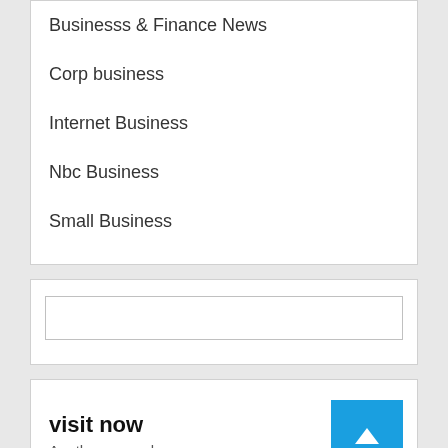Businesss & Finance News
Corp business
Internet Business
Nbc Business
Small Business
visit now
Another example